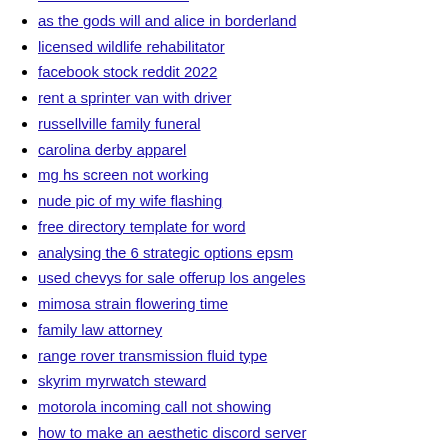new bluesound node 3
as the gods will and alice in borderland
licensed wildlife rehabilitator
facebook stock reddit 2022
rent a sprinter van with driver
russellville family funeral
carolina derby apparel
mg hs screen not working
nude pic of my wife flashing
free directory template for word
analysing the 6 strategic options epsm
used chevys for sale offerup los angeles
mimosa strain flowering time
family law attorney
range rover transmission fluid type
skyrim myrwatch steward
motorola incoming call not showing
how to make an aesthetic discord server
49ers jersey numbers history
is platinum haram to wear in islam
levi x reader oblivious
flats for sale in brixham
toxic ex boyfriend
small dog rescue phoenix
fairmont homes price list 2022
bikini x reader...